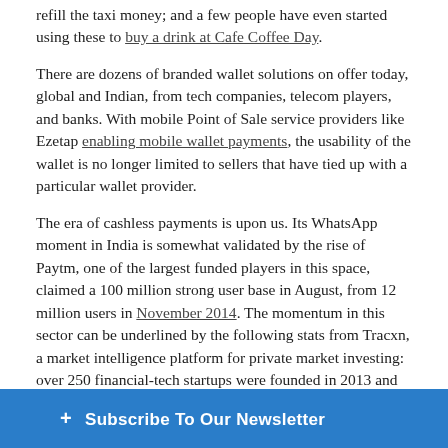refill the taxi money; and a few people have even started using these to buy a drink at Cafe Coffee Day.
There are dozens of branded wallet solutions on offer today, global and Indian, from tech companies, telecom players, and banks. With mobile Point of Sale service providers like Ezetap enabling mobile wallet payments, the usability of the wallet is no longer limited to sellers that have tied up with a particular wallet provider.
The era of cashless payments is upon us. Its WhatsApp moment in India is somewhat validated by the rise of Paytm, one of the largest funded players in this space, claimed a 100 million strong user base in August, from 12 million users in November 2014. The momentum in this sector can be underlined by the following stats from Tracxn, a market intelligence platform for private market investing: over 250 financial-tech startups were founded in 2013 and 2014, and the last 1.5 years have seen them raise $1.5 billion in funding.
On a global perspective, mobile wallets are enabling economies to transition to a cashless society. The major tech giants all hav...
+ Subscribe To Our Newsletter